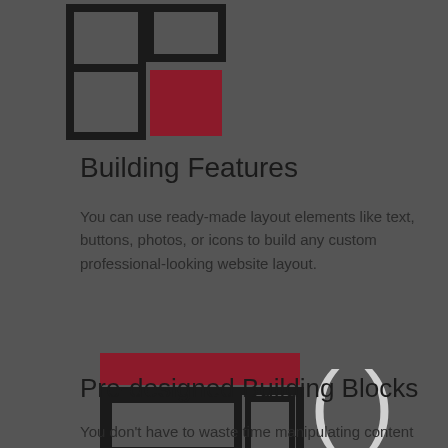[Figure (illustration): Abstract layout/grid icon with dark rectangles and a crimson/dark-red square, partially visible at top of page]
Building Features
You can use ready-made layout elements like text, buttons, photos, or icons to build any custom professional-looking website layout.
[Figure (illustration): Two icons side by side: left icon shows a layout block with a crimson header bar and a content area with a sidebar rectangle; right icon shows large parentheses ( )]
Pre-designed Building Blocks
You don't have to waste time manipulating content layouts. A collection of 350+ content blocks helps them build professional websites without any